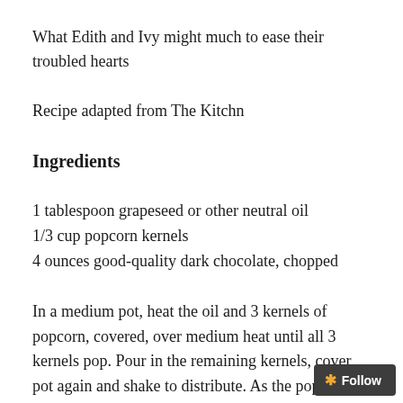What Edith and Ivy might much to ease their troubled hearts
Recipe adapted from The Kitchn
Ingredients
1 tablespoon grapeseed or other neutral oil
1/3 cup popcorn kernels
4 ounces good-quality dark chocolate, chopped
In a medium pot, heat the oil and 3 kernels of popcorn, covered, over medium heat until all 3 kernels pop. Pour in the remaining kernels, cover pot again and shake to distribute. As the popcorn pops, shake pan occasionally and immediately remove from heat once the popping slows to 2-3 seconds between pops. Pour popco